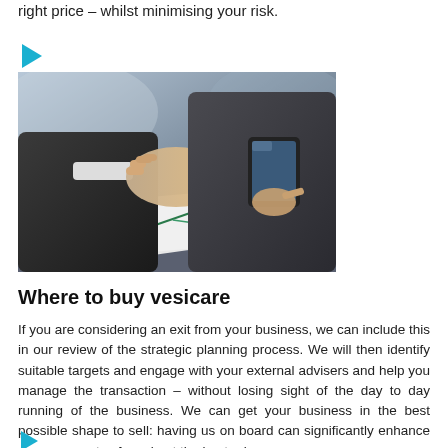right price – whilst minimising your risk.
[Figure (photo): Two businessmen shaking hands across a table, one holding a tablet device, with documents visible on the table.]
Where to buy vesicare
If you are considering an exit from your business, we can include this in our review of the strategic planning process. We will then identify suitable targets and engage with your external advisers and help you manage the transaction – without losing sight of the day to day running of the business. We can get your business in the best possible shape to sell: having us on board can significantly enhance your prospects of a sale at the best price.